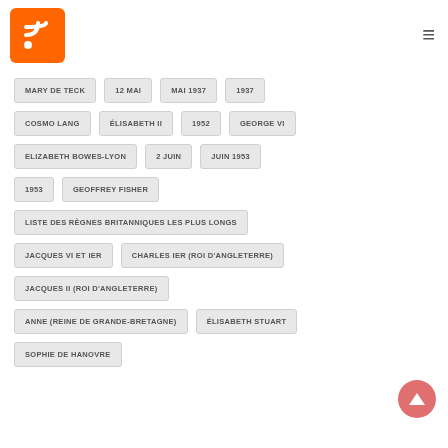[Figure (logo): RSS feed orange icon with WiFi-like symbol]
MARY DE TECK
12 MAI
MAI 1937
1937
COSMO LANG
ÉLISABETH II
1952
GEORGE VI
ELIZABETH BOWES-LYON
2 JUIN
JUIN 1953
1953
GEOFFREY FISHER
LISTE DES RÈGNES BRITANNIQUES LES PLUS LONGS
JACQUES VI ET IER
CHARLES IER (ROI D'ANGLETERRE)
JACQUES II (ROI D'ANGLETERRE)
ANNE (REINE DE GRANDE-BRETAGNE)
ÉLISABETH STUART
SOPHIE DE HANOVRE